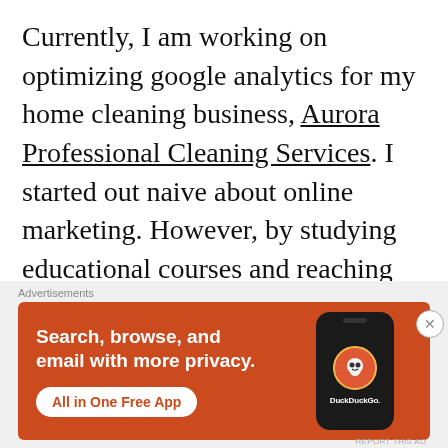Currently, I am working on optimizing google analytics for my home cleaning business, Aurora Professional Cleaning Services. I started out naive about online marketing. However, by studying educational courses and reaching out to seasoned veterans, I am becoming more confident knowing I can be a strong business owner. When you have the
Advertisements
[Figure (infographic): DuckDuckGo advertisement banner with orange background. Left side text: 'Search, browse, and email with more privacy.' with white button 'All in One Free App'. Right side shows a phone graphic with DuckDuckGo logo and brand name.]